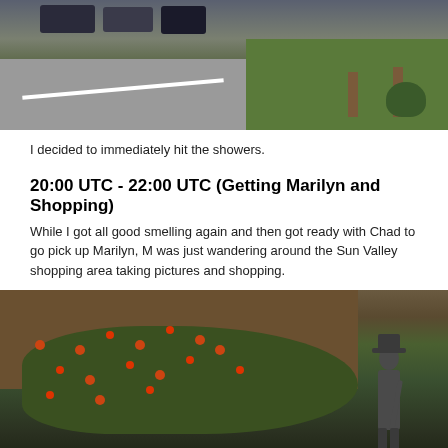[Figure (photo): Outdoor scene showing a road with parked cars at top, green grass, wooden posts, and shrubs]
I decided to immediately hit the showers.
20:00 UTC - 22:00 UTC (Getting Marilyn and Shopping)
While I got all good smelling again and then got ready with Chad to go pick up Marilyn, M was just wandering around the Sun Valley shopping area taking pictures and shopping.
[Figure (photo): Photo of a wooden shingle roof with orange flowering plants/vines and a bronze statue of a person on the right side]